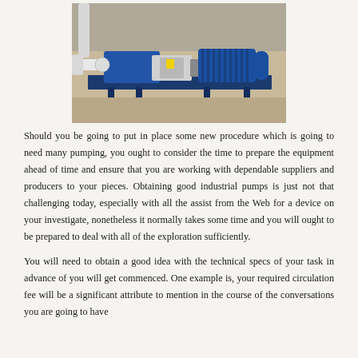[Figure (photo): Industrial blue pump assembly with electric motor mounted on a metal base frame, connected to white piping, photographed outdoors on a concrete surface.]
Should you be going to put in place some new procedure which is going to need many pumping, you ought to consider the time to prepare the equipment ahead of time and ensure that you are working with dependable suppliers and producers to your pieces. Obtaining good industrial pumps is just not that challenging today, especially with all the assist from the Web for a device on your investigate, nonetheless it normally takes some time and you will ought to be prepared to deal with all of the exploration sufficiently.
You will need to obtain a good idea with the technical specs of your task in advance of you will get commenced. One example is, your required circulation fee will be a significant attribute to mention in the course of the conversations you are going to have